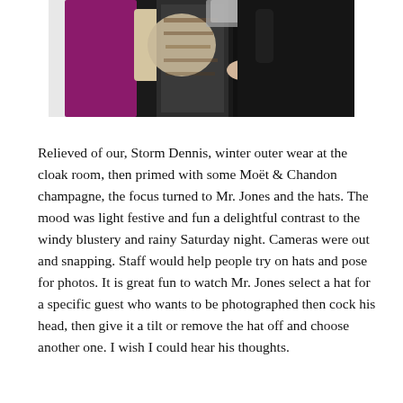[Figure (photo): A photo showing people's torsos at a cloakroom or event, with colourful winter outerwear including a magenta/purple coat, a floral or patterned garment, a cream scarf, and dark clothing. A hand is visible reaching toward the garments.]
Relieved of our, Storm Dennis, winter outer wear at the cloak room, then primed with some Moët & Chandon champagne, the focus turned to Mr. Jones and the hats. The mood was light festive and fun a delightful contrast to the windy blustery and rainy Saturday night. Cameras were out and snapping. Staff would help people try on hats and pose for photos. It is great fun to watch Mr. Jones select a hat for a specific guest who wants to be photographed then cock his head, then give it a tilt or remove the hat off and choose another one. I wish I could hear his thoughts.